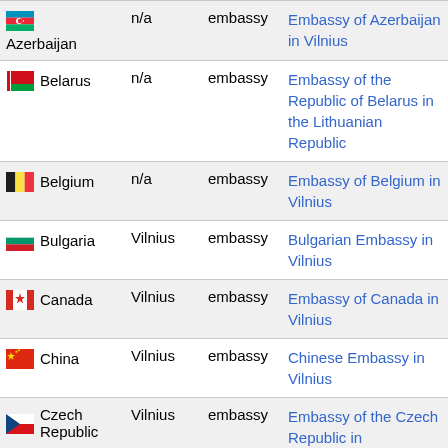| Country | City | Type | Mission |
| --- | --- | --- | --- |
| Azerbaijan | n/a | embassy | Embassy of Azerbaijan in Vilnius |
| Belarus | n/a | embassy | Embassy of the Republic of Belarus in the Lithuanian Republic |
| Belgium | n/a | embassy | Embassy of Belgium in Vilnius |
| Bulgaria | Vilnius | embassy | Bulgarian Embassy in Vilnius |
| Canada | Vilnius | embassy | Embassy of Canada in Vilnius |
| China | Vilnius | embassy | Chinese Embassy in Vilnius |
| Czech Republic | Vilnius | embassy | Embassy of the Czech Republic in |